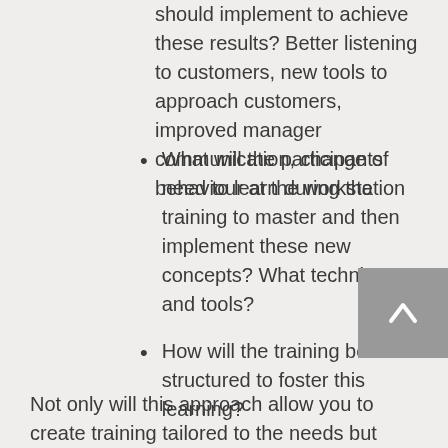What behaviours will participants should implement to achieve these results? Better listening to customers, new tools to approach customers, improved manager communication, change of behaviour at the workstation
What will the participants need to learn during the training to master and then implement these new concepts? What techniques and tools?
How will the training be structured to foster this learning?
Not only will this approach allow you to create training tailored to the needs but